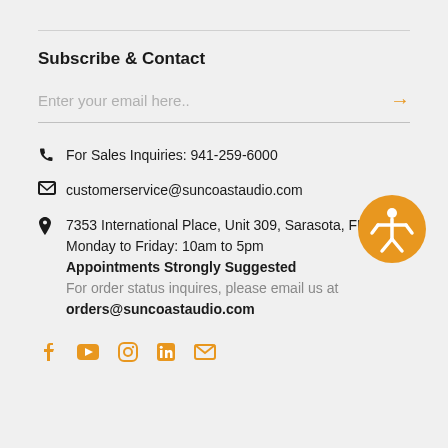Subscribe & Contact
Enter your email here..
For Sales Inquiries: 941-259-6000
customerservice@suncoastaudio.com
7353 International Place, Unit 309, Sarasota, FL 34
Monday to Friday: 10am to 5pm
Appointments Strongly Suggested
For order status inquires, please email us at
orders@suncoastaudio.com
[Figure (logo): Orange circular accessibility badge with person icon (accessibility/wheelchair universal symbol)]
Social media icons: Facebook, YouTube, Instagram, LinkedIn, Email